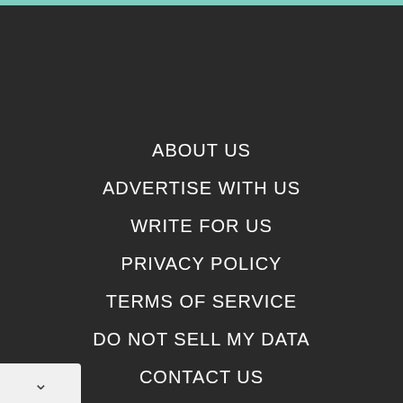ABOUT US
ADVERTISE WITH US
WRITE FOR US
PRIVACY POLICY
TERMS OF SERVICE
DO NOT SELL MY DATA
CONTACT US
RADIANT
FOLLOW US ON FACEBOOK
FIND US ON YOUTUBE